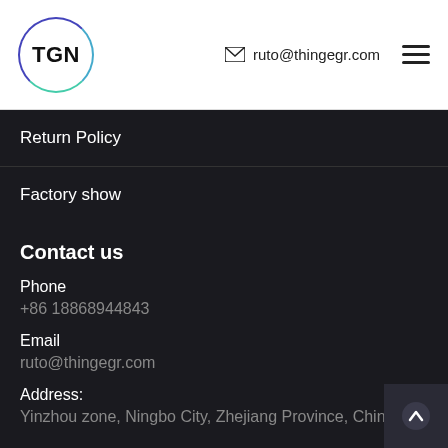[Figure (logo): TGN logo — circle with gradient border (blue to teal), text TGN inside]
ruto@thingegr.com
Return Policy
Factory show
Contact us
Phone
+86 18868944843
Email
ruto@thingegr.com
Address:
Yinzhou zone, Ningbo City, Zhejiang Province, China